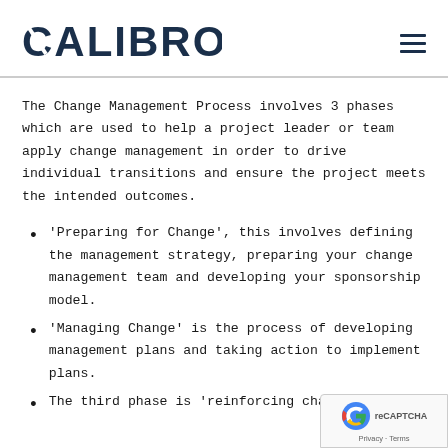CALIBRO
The Change Management Process involves 3 phases which are used to help a project leader or team apply change management in order to drive individual transitions and ensure the project meets the intended outcomes.
'Preparing for Change', this involves defining the management strategy, preparing your change management team and developing your sponsorship model.
'Managing Change' is the process of developing management plans and taking action to implement plans.
The third phase is 'reinforcing change' which